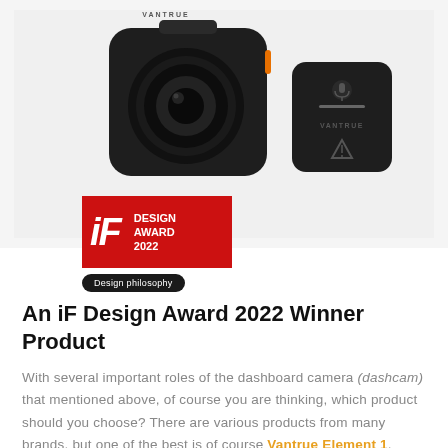[Figure (photo): Product photo of Vantrue Element 1 dashcam (main camera unit) and a small rear camera unit, shown on a light gray background]
[Figure (logo): iF Design Award 2022 red badge with 'iF' logo in italic white on red background and 'DESIGN AWARD 2022' text, with a 'Design philosophy' dark pill button below]
An iF Design Award 2022 Winner Product
With several important roles of the dashboard camera (dashcam) that mentioned above, of course you are thinking, which product should you choose? There are various products from many brands, but one of the best is of course Vantrue Element 1, which has just been released but has already won an award by iF Design